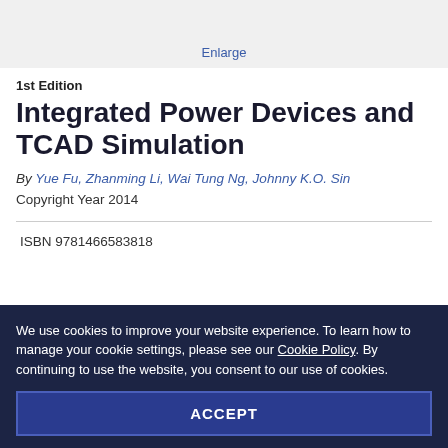[Figure (screenshot): Top portion of a book cover image with Enlarge link below it, shown in a gray background area]
1st Edition
Integrated Power Devices and TCAD Simulation
By Yue Fu, Zhanming Li, Wai Tung Ng, Johnny K.O. Sin
Copyright Year 2014
ISBN 9781466583818
We use cookies to improve your website experience. To learn how to manage your cookie settings, please see our Cookie Policy. By continuing to use the website, you consent to our use of cookies.
ACCEPT